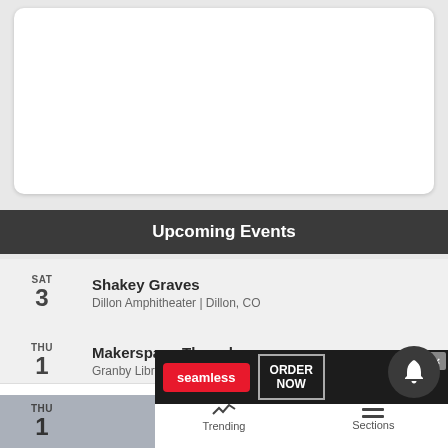[Figure (other): White card placeholder area with rounded corners on grey background]
Upcoming Events
SAT 3 — Shakey Graves — Dillon Amphitheater | Dillon, CO
THU 1 — Makerspace Thursdays — Granby Library | Granby, CO
THU 1
[Figure (screenshot): Seamless food delivery advertisement banner with pizza image, Seamless logo, and ORDER NOW button]
Home   Trending   Sections